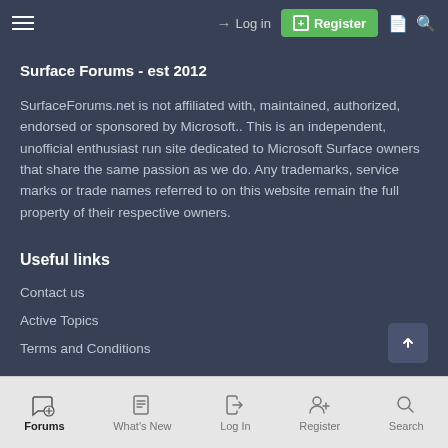Surface Forums navigation bar with Login and Register buttons
Surface Forums - est 2012
SurfaceForums.net is not affiliated with, maintained, authorized, endorsed or sponsored by Microsoft.. This is an independent, unofficial enthusiast run site dedicated to Microsoft Surface owners that share the same passion as we do. Any trademarks, service marks or trade names referred to on this website remain the full property of their respective owners.
Useful links
Contact us
Active Topics
Terms and Conditions
Forums | What's New | Log In | Register | Search